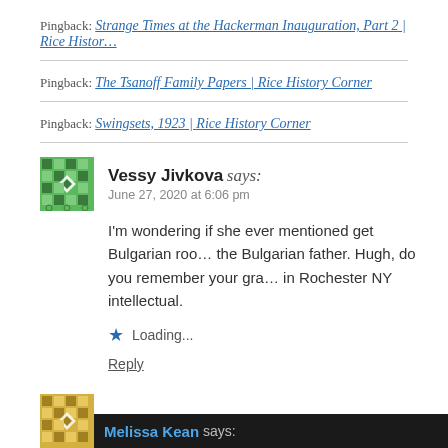Pingback: Strange Times at the Hackerman Inauguration, Part 2 | Rice Histor…
Pingback: The Tsanoff Family Papers | Rice History Corner
Pingback: Swingsets, 1923 | Rice History Corner
Vessy Jivkova says: June 27, 2020 at 6:06 pm
I'm wondering if she ever mentioned get Bulgarian roo… the Bulgarian father. Hugh, do you remember your gra… in Rochester NY intellectual.
Loading...
Reply
Melissa Kean says: